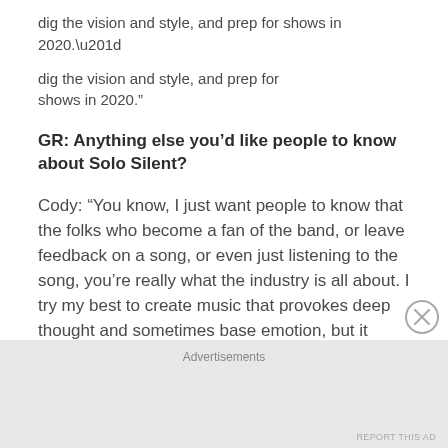dig the vision and style, and prep for shows in 2020.”
GR: Anything else you’d like people to know about Solo Silent?
Cody: “You know, I just want people to know that the folks who become a fan of the band, or leave feedback on a song, or even just listening to the song, you’re really what the industry is all about. I try my best to create music that provokes deep thought and sometimes base emotion, but it doesn’t mean a thing…
Advertisements